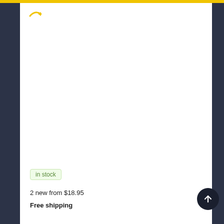[Figure (screenshot): Amazon-style e-commerce product page screenshot showing a dark navy sidebar, yellow top bar, Amazon logo arc in yellow, a white content area, an 'in stock' green badge, pricing text '2 new from $18.95', 'Free shipping' text, and a dark circular scroll-to-top arrow button in the bottom right.]
in stock
2 new from $18.95
Free shipping